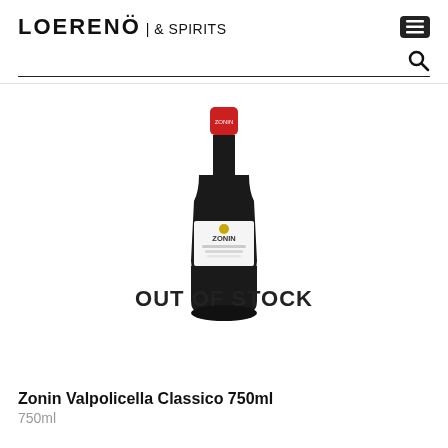LOERENÖ & SPIRITS
[Figure (photo): Wine bottle product image for Zonin Valpolicella Classico 750ml with red cap, dark bottle, and white label showing ZONIN branding. Overlaid with 'OUT OF STOCK' text.]
Zonin Valpolicella Classico 750ml
750ml